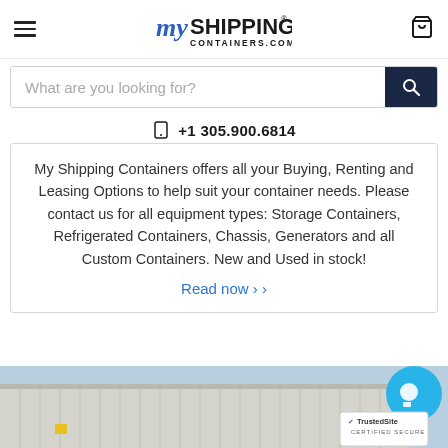My Shipping Containers - myshippingcontainers.com
What are you looking for?
+1 305.900.6814
My Shipping Containers offers all your Buying, Renting and Leasing Options to help suit your container needs. Please contact us for all equipment types: Storage Containers, Refrigerated Containers, Chassis, Generators and all Custom Containers. New and Used in stock!
Read now ›
[Figure (photo): Photo of white shipping containers stacked outdoors against a blue sky]